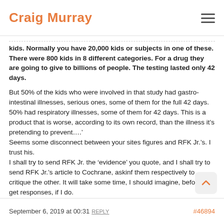Craig Murray
kids. Normally you have 20,000 kids or subjects in one of these. There were 800 kids in 8 different categories. For a drug they are going to give to billions of people. The testing lasted only 42 days.
But 50% of the kids who were involved in that study had gastro-intestinal illnesses, serious ones, some of them for the full 42 days. 50% had respiratory illnesses, some of them for 42 days. This is a product that is worse, according to its own record, than the illness it’s pretending to prevent….’
Seems some disconnect between your sites figures and RFK Jr.’s. I trust his.
I shall try to send RFK Jr. the ‘evidence’ you quote, and I shall try to send RFK Jr.’s article to Cochrane, askinf them respectively to critique the other. It will take some time, I should imagine, before I get responses, if I do.
September 6, 2019 at 00:31  REPLY  #46894